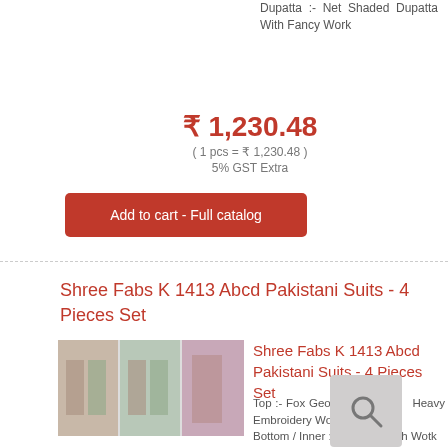Dupatta :- Net Shaded Dupatta With Fancy Work
₹ 1,230.48
( 1 pcs = ₹ 1,230.48 )
5% GST Extra
Add to cart - Full catalog
Shree Fabs K 1413 Abcd Pakistani Suits - 4 Pieces Set
[Figure (photo): Product image collage of Shree Fabs K 1413 Abcd Pakistani Suits 4 Pieces Set]
Shree Fabs K 1413 Abcd Pakistani Suits - 4 Pieces Set
Top :- Fox Georgette Heavy Embroidery Work
Bottom / Inner :- Santoon With Wotk